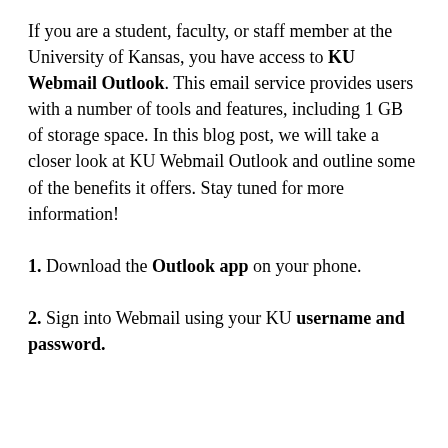If you are a student, faculty, or staff member at the University of Kansas, you have access to KU Webmail Outlook. This email service provides users with a number of tools and features, including 1 GB of storage space. In this blog post, we will take a closer look at KU Webmail Outlook and outline some of the benefits it offers. Stay tuned for more information!
1. Download the Outlook app on your phone.
2. Sign into Webmail using your KU username and password.